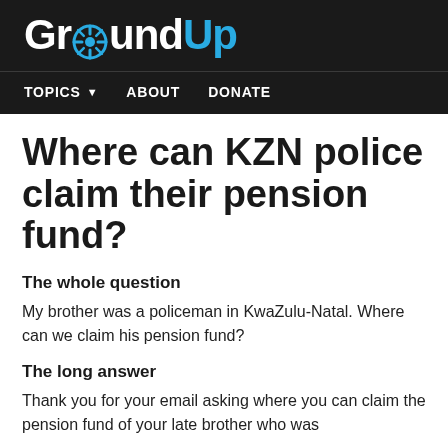[Figure (logo): GroundUp logo with camera aperture icon between 'Ground' and 'Up', on dark background]
TOPICS  ABOUT  DONATE
Where can KZN police claim their pension fund?
The whole question
My brother was a policeman in KwaZulu-Natal. Where can we claim his pension fund?
The long answer
Thank you for your email asking where you can claim the pension fund of your late brother who was